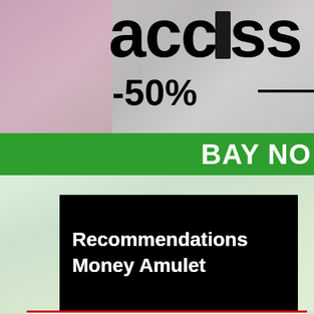[Figure (screenshot): Top banner with 'access' text in large black font on blurred background, showing '-50%' discount text, green bar with 'BAY NO' (BUY NOW) button text, blurred mid-section background]
Recommendations Money Amulet
expert
I have